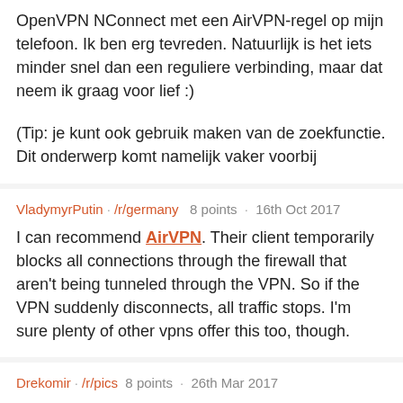OpenVPN NConnect met een AirVPN-regel op mijn telefoon. Ik ben erg tevreden. Natuurlijk is het iets minder snel dan een reguliere verbinding, maar dat neem ik graag voor lief :)

(Tip: je kunt ook gebruik maken van de zoekfunctie. Dit onderwerp komt namelijk vaker voorbij
VladymyrPutin · /r/germany  8 points · 16th Oct 2017
I can recommend AirVPN. Their client temporarily blocks all connections through the firewall that aren't being tunneled through the VPN. So if the VPN suddenly disconnects, all traffic stops. I'm sure plenty of other vpns offer this too, though.
Drekomir · /r/pics  8 points · 26th Mar 2017
You should check out AirVPN. Transferred from PIA to AirVPN in a heartbeat last year. Way more